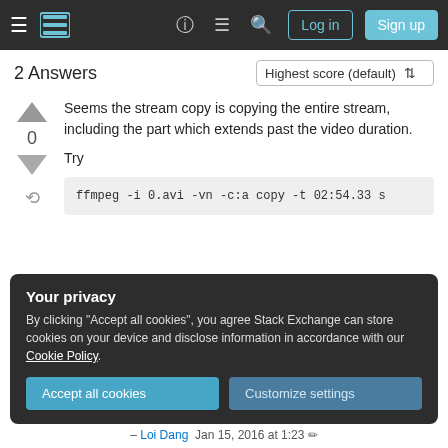Stack Exchange navigation bar with Log in and Sign up buttons
2 Answers
Seems the stream copy is copying the entire stream, including the part which extends past the video duration.
Try
ffmpeg -i 0.avi -vn -c:a copy -t 02:54.33 s
Your privacy
By clicking "Accept all cookies", you agree Stack Exchange can store cookies on your device and disclose information in accordance with our Cookie Policy.
Accept all cookies  Customize settings
– Loi Dang  Jan 15, 2016 at 1:23